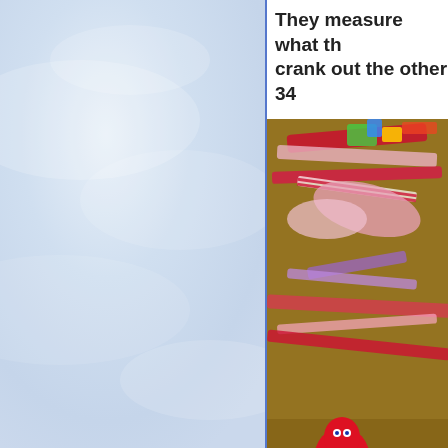[Figure (photo): Overcast pale blue-white sky with soft clouds, occupying the left half of the page]
They measure what th... crank out the other 34...
[Figure (photo): Cluttered craft table with red, pink, and purple fabric strips, ribbons, a red stuffed doll, and craft supplies scattered on a wooden surface]
I am having a lot of fu... Mystery -- especially ... favorites! Some peop...